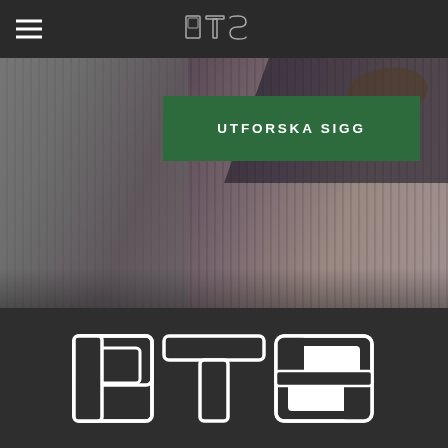PTS
[Figure (screenshot): Hero image showing pleated fabric/skirt with dark overlays. A green banner overlays the image with text 'UTFORSKA SIGG'.]
UTFORSKA SIGG
[Figure (logo): Large PTS logo in outline/stroke style on dark background]